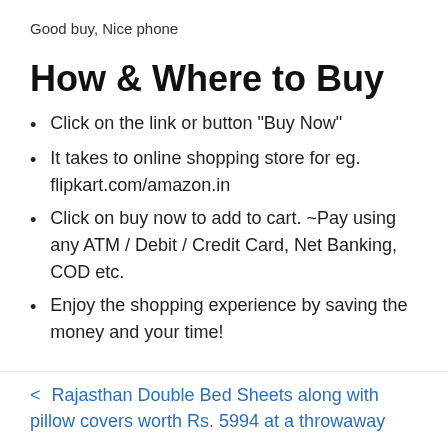Good buy, Nice phone
How & Where to Buy
Click on the link or button "Buy Now"
It takes to online shopping store for eg. flipkart.com/amazon.in
Click on buy now to add to cart. ~Pay using any ATM / Debit / Credit Card, Net Banking, COD etc.
Enjoy the shopping experience by saving the money and your time!
< Rajasthan Double Bed Sheets along with pillow covers worth Rs. 5994 at a throwaway